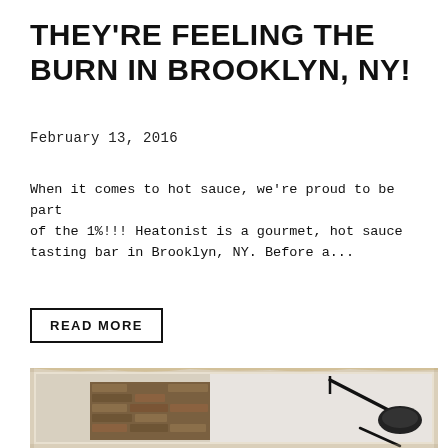THEY'RE FEELING THE BURN IN BROOKLYN, NY!
February 13, 2016
When it comes to hot sauce, we're proud to be part of the 1%!!! Heatonist is a gourmet, hot sauce tasting bar in Brooklyn, NY. Before a...
READ MORE
[Figure (photo): Partial photo showing a brick wall exterior and a black industrial lamp mounted on the wall, with a weathered/aged border effect around the photo]